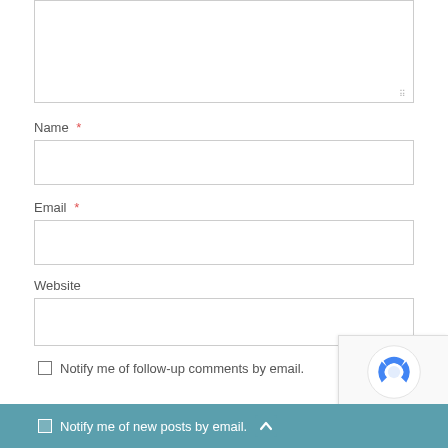[Figure (screenshot): Comment textarea input box (top portion visible, partially cropped)]
Name *
[Figure (screenshot): Name input text field (empty)]
Email *
[Figure (screenshot): Email input text field (empty)]
Website
[Figure (screenshot): Website input text field (empty)]
Notify me of follow-up comments by email.
Notify me of new posts by email.
[Figure (logo): reCAPTCHA badge with spinning logo and Privacy · Terms links]